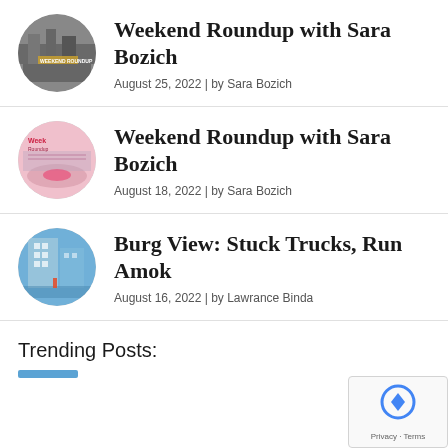[Figure (illustration): Circular thumbnail photo for Weekend Roundup post – street scene with yellow tape]
Weekend Roundup with Sara Bozich
August 25, 2022 | by Sara Bozich
[Figure (illustration): Circular thumbnail photo for Weekend Roundup post – pink flamingo float on water]
Weekend Roundup with Sara Bozich
August 18, 2022 | by Sara Bozich
[Figure (illustration): Circular thumbnail photo for Burg View post – city building with blue sky]
Burg View: Stuck Trucks, Run Amok
August 16, 2022 | by Lawrance Binda
Trending Posts: